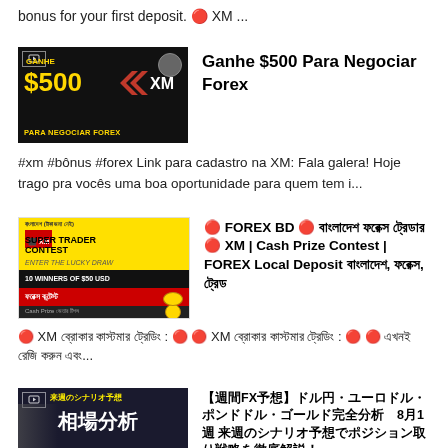bonus for your first deposit. 🔴 XM ...
[Figure (photo): XM broker promotional banner - GANHE $500 PARA NEGOCIAR FOREX in black and gold with XM logo]
Ganhe $500 Para Negociar Forex
#xm #bônus #forex Link para cadastro na XM: Fala galera! Hoje trago pra vocês uma boa oportunidade para quem tem i...
[Figure (photo): XM Super Trader Contest promotional banner with yellow background, 10 winners of $50 USD cash prize contest]
🔴 FOREX BD 🔴 বাংলাদেশ ফরেক্স ট্রেডার 🔴 XM | Cash Prize Contest | FOREX Local Deposit বাংলাদেশ, ফরেক্স, ট্রেড
🔴 XM ব্রোকার কাস্টমার ট্রেডিং : 🔴 🔴 XM ব্রোকার কাস্টমার ট্রেডিং : 🔴 🔴 এখনই রেজি করুন এবং...
[Figure (photo): Japanese forex analysis thumbnail with 来週のシナリオ予想 and 相場分析 text, woman presenter]
【週間FX予想】ドル円・ユーロドル・ポンドドル・ゴールド完全分析 8月1週 来週のシナリオ予想でポジション取り戦略を徹底解説！